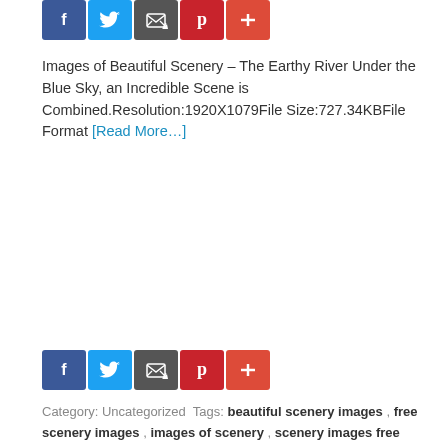[Figure (other): Row of social share icon buttons: Facebook (blue), Twitter (blue), Email/envelope (grey), Pinterest (red), More/plus (orange-red) — top set]
Images of Beautiful Scenery – The Earthy River Under the Blue Sky, an Incredible Scene is Combined.Resolution:1920X1079File Size:727.34KBFile Format [Read More…]
[Figure (other): Row of social share icon buttons: Facebook (blue), Twitter (blue), Email/envelope (grey), Pinterest (red), More/plus (orange-red) — middle set]
Category: Uncategorized Tags: beautiful scenery images , free scenery images , images of scenery , scenery images free
Natural Scenery images – The Thick Clouds Covered Sky, Wheats in the Same